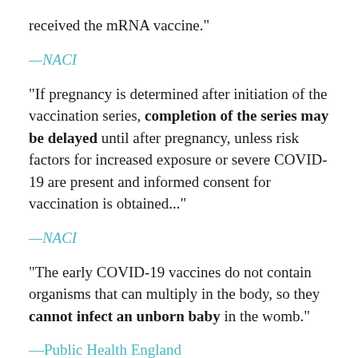received the mRNA vaccine."
—NACI
"If pregnancy is determined after initiation of the vaccination series, completion of the series may be delayed until after pregnancy, unless risk factors for increased exposure or severe COVID-19 are present and informed consent for vaccination is obtained..."
—NACI
"The early COVID-19 vaccines do not contain organisms that can multiply in the body, so they cannot infect an unborn baby in the womb."
—Public Health England
Breastfeeding: You are breastfeeding. Is it